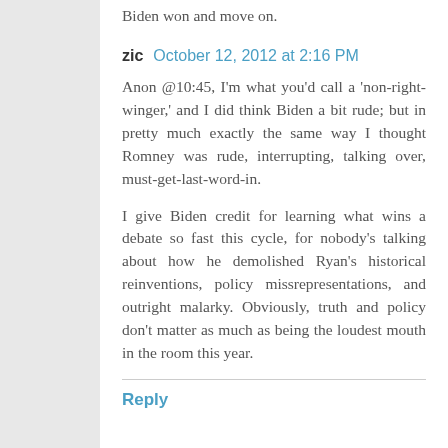Biden won and move on.
zic  October 12, 2012 at 2:16 PM
Anon @10:45, I'm what you'd call a 'non-right-winger,' and I did think Biden a bit rude; but in pretty much exactly the same way I thought Romney was rude, interrupting, talking over, must-get-last-word-in.
I give Biden credit for learning what wins a debate so fast this cycle, for nobody's talking about how he demolished Ryan's historical reinventions, policy missrepresentations, and outright malarky. Obviously, truth and policy don't matter as much as being the loudest mouth in the room this year.
Reply